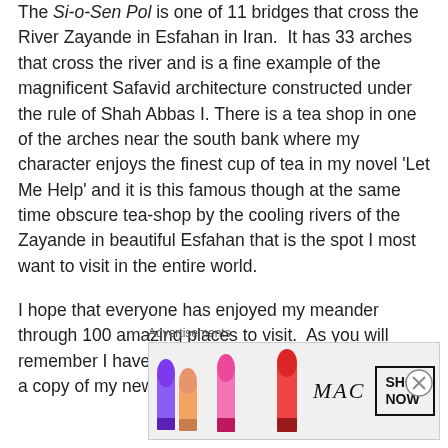The Si-o-Sen Pol is one of 11 bridges that cross the River Zayande in Esfahan in Iran. It has 33 arches that cross the river and is a fine example of the magnificent Safavid architecture constructed under the rule of Shah Abbas I. There is a tea shop in one of the arches near the south bank where my character enjoys the finest cup of tea in my novel 'Let Me Help' and it is this famous though at the same time obscure tea-shop by the cooling rivers of the Zayande in beautiful Esfahan that is the spot I most want to visit in the entire world.
I hope that everyone has enjoyed my meander through 100 amazing places to visit. As you will remember I have been running a competition to win a copy of my new
Advertisements
[Figure (illustration): MAC Cosmetics advertisement showing lipsticks in purple, peach, pink and red colors with MAC logo and SHOP NOW button]